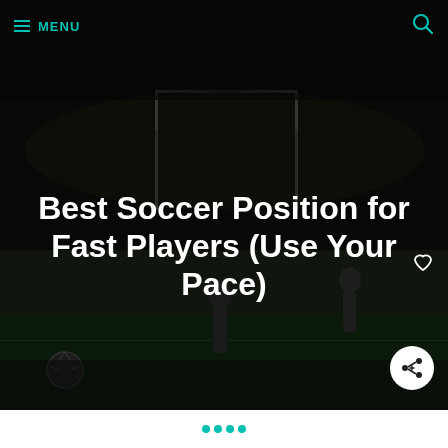MENU
[Figure (photo): Dark nighttime soccer match photo showing female players on a field with a goal in the background and a soccer ball in the foreground.]
Best Soccer Position for Fast Players (Use Your Pace)